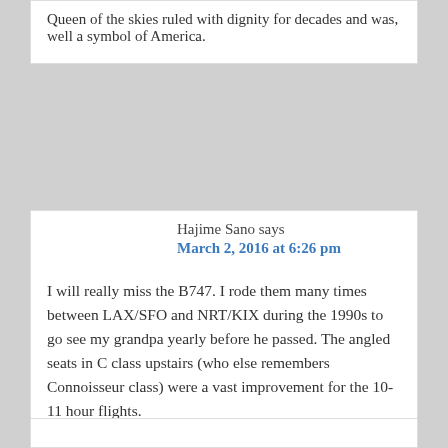Queen of the skies ruled with dignity for decades and was, well a symbol of America.
Hajime Sano says
March 2, 2016 at 6:26 pm
I will really miss the B747. I rode them many times between LAX/SFO and NRT/KIX during the 1990s to go see my grandpa yearly before he passed. The angled seats in C class upstairs (who else remembers Connoisseur class) were a vast improvement for the 10-11 hour flights.